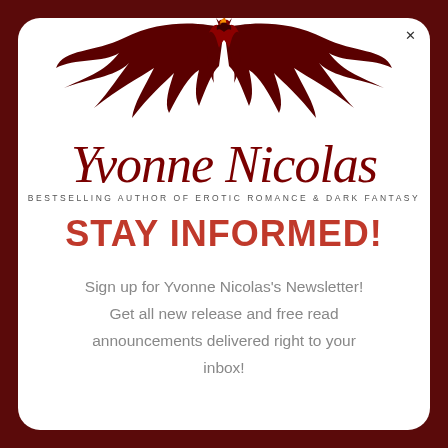[Figure (logo): Yvonne Nicolas author logo: a dark red dragon with spread wings above the cursive name 'Yvonne Nicolas' with tagline 'BESTSELLING AUTHOR OF EROTIC ROMANCE & DARK FANTASY']
STAY INFORMED!
Sign up for Yvonne Nicolas's Newsletter! Get all new release and free read announcements delivered right to your inbox!